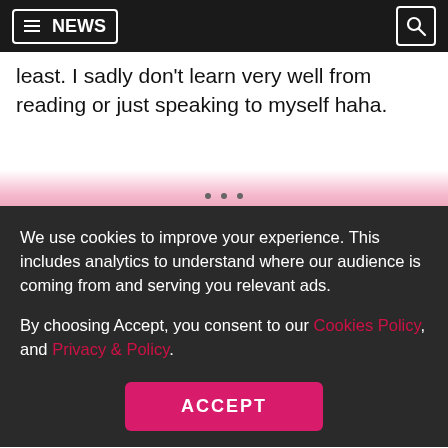≡ NEWS
least. I sadly don't learn very well from reading or just speaking to myself haha.
We use cookies to improve your experience. This includes analytics to understand where our audience is coming from and serving you relevant ads.
By choosing Accept, you consent to our Cookies Policy, and Privacy & Policy.
ACCEPT